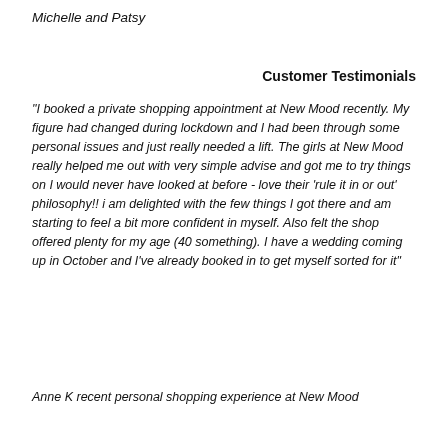Michelle and Patsy
Customer Testimonials
"I booked a private shopping appointment at New Mood recently. My figure had changed during lockdown and I had been through some personal issues and just really needed a lift. The girls at New Mood really helped me out with very simple advise and got me to try things on I would never have looked at before - love their 'rule it in or out' philosophy!! i am delighted with the few things I got there and am starting to feel a bit more confident in myself. Also felt the shop offered plenty for my age (40 something). I have a wedding coming up in October and I've already booked in to get myself sorted for it"
Anne K recent personal shopping experience at New Mood